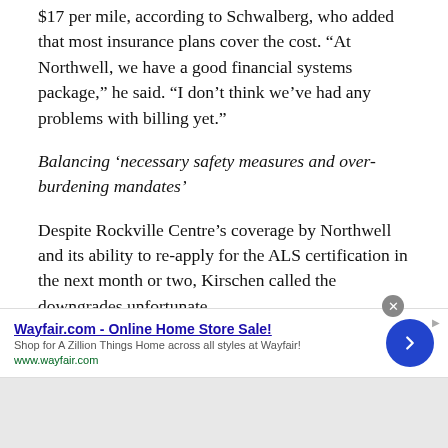$17 per mile, according to Schwalberg, who added that most insurance plans cover the cost. “At Northwell, we have a good financial systems package,” he said. “I don’t think we’ve had any problems with billing yet.”
Balancing ‘necessary safety measures and over-burdening mandates’
Despite Rockville Centre’s coverage by Northwell and its ability to re-apply for the ALS certification in the next month or two, Kirschen called the downgrades unfortunate.
An anesthesiologist who specializes in pain
[Figure (other): Advertisement banner for Wayfair.com - Online Home Store Sale! with text 'Shop for A Zillion Things Home across all styles at Wayfair!' and URL www.wayfair.com, with a blue circular arrow button and close button.]